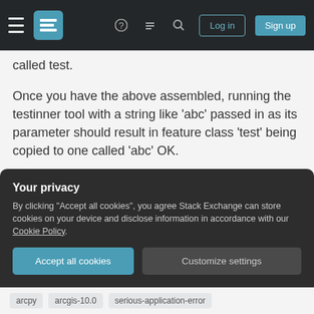Stack Exchange navigation bar with hamburger menu, logo, help icon, chat icon, search icon, Log in and Sign up buttons
called test.
Once you have the above assembled, running the testinner tool with a string like 'abc' passed in as its parameter should result in feature class 'test' being copied to one called 'abc' OK.
But when you try running the testouter tool with two strings like 'uvw' and 'xyz' as its parameters, the testinner tool within testouter.py seems to run OK once, but sends ArcMap 10 SP2 on Vista SP2 to a Serious Application Error when trying to use it the
Your privacy
By clicking "Accept all cookies", you agree Stack Exchange can store cookies on your device and disclose information in accordance with our Cookie Policy.
Accept all cookies
Customize settings
arcpy   arcgis-10.0   serious-application-error